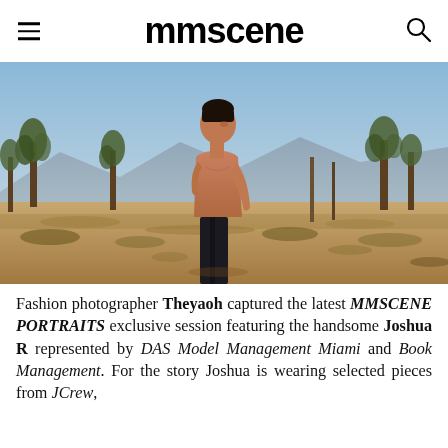mmscene
[Figure (photo): Shirtless male model standing in a desert landscape with Joshua trees and mountains in the background, wearing dark pants, photographed outdoors in natural light.]
Fashion photographer Theyaoh captured the latest MMSCENE PORTRAITS exclusive session featuring the handsome Joshua R represented by DAS Model Management Miami and Book Management. For the story Joshua is wearing selected pieces from JCrew,